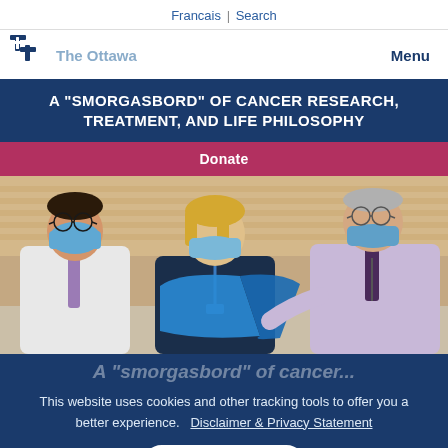Francais | Search
The Ottawa   Menu
A "SMORGASBORD" OF CANCER RESEARCH, TREATMENT, AND LIFE PHILOSOPHY
Donate
[Figure (photo): Three healthcare professionals wearing blue surgical masks looking at a blue folder/document together. They are standing in what appears to be a hospital corridor. Left: man in white coat with purple tie and glasses. Center: woman with blonde hair in dark top with lanyard. Right: older man in light purple shirt with glasses and lanyard.]
A "smorgasbord" of cancer...
This website uses cookies and other tracking tools to offer you a better experience.   Disclaimer & Privacy Statement
Accept